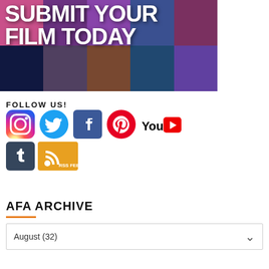[Figure (illustration): Banner image with collage of animated film stills and bold white text reading 'SUBMIT YOUR FILM TODAY']
FOLLOW US!
[Figure (infographic): Row of social media icons: Instagram, Twitter, Facebook, Pinterest, YouTube, Tumblr, RSS Feed]
AFA ARCHIVE
August (32)